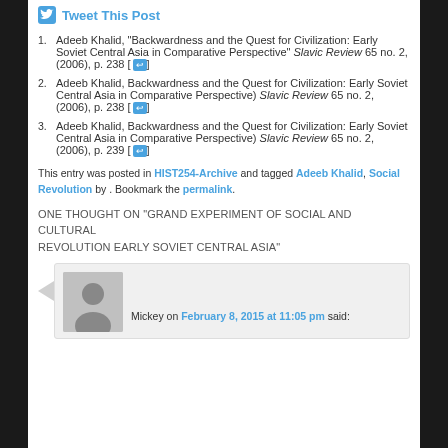Tweet This Post
Adeeb Khalid, "Backwardness and the Quest for Civilization: Early Soviet Central Asia in Comparative Perspective" Slavic Review 65 no. 2, (2006), p. 238 [↩]
Adeeb Khalid, Backwardness and the Quest for Civilization: Early Soviet Central Asia in Comparative Perspective) Slavic Review 65 no. 2, (2006), p. 238 [↩]
Adeeb Khalid, Backwardness and the Quest for Civilization: Early Soviet Central Asia in Comparative Perspective) Slavic Review 65 no. 2, (2006), p. 239 [↩]
This entry was posted in HIST254-Archive and tagged Adeeb Khalid, Social Revolution by . Bookmark the permalink.
ONE THOUGHT ON "GRAND EXPERIMENT OF SOCIAL AND CULTURAL REVOLUTION EARLY SOVIET CENTRAL ASIA"
[Figure (other): User avatar placeholder (grey silhouette) with comment attribution: Mickey on February 8, 2015 at 11:05 pm said:]